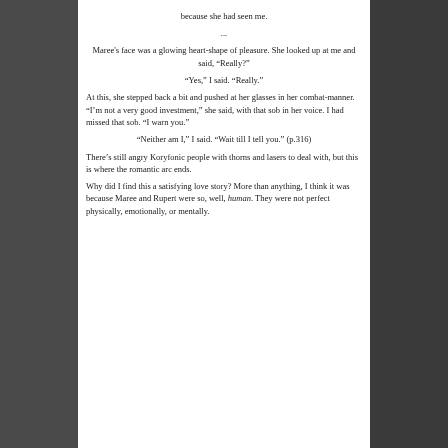because she had seen me.
...
Maree's face was a glowing heart-shape of pleasure. She looked up at me and said, “Really?”
“Yes,” I said. “Really.”
At this, she stepped back a bit and pushed at her glasses in her combat-manner. “I’m not a very good investment,” she said, with that sob in her voice. I had missed that sob. “I warn you.”
“Neither am I,” I said. “Wait till I tell you.” (p.316)
There’s still angry Koryfonic people with thorns and lasers to deal with, but this is where the romantic arc ends.
Why did I find this a satisfying love story? More than anything, I think it was because Maree and Rupert were so, well, human. They were not perfect physically, emotionally, or mentally.